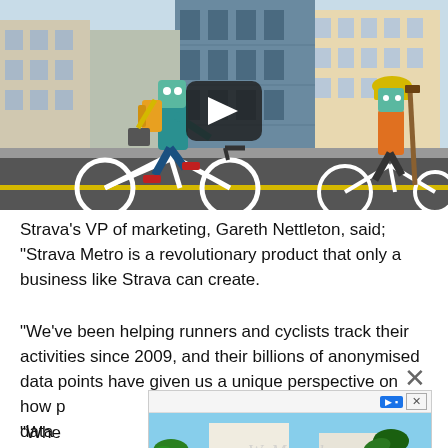[Figure (illustration): Animated-style illustration of two cartoon characters riding bicycles on a city street. Left character wears teal/blue outfit with a backpack and carries a briefcase, riding a white bicycle. Right character wears a yellow hard hat and orange vest, also on a white bicycle. City buildings in background. A dark rounded-rectangle play button is centered over the image indicating a video player.]
Strava's VP of marketing, Gareth Nettleton, said; "Strava Metro is a revolutionary product that only a business like Strava can create.
"We've been helping runners and cyclists track their activities since 2009, and their billions of anonymised data points have given us a unique perspective on how people move
[Figure (photo): Advertisement overlay image showing a tropical/garden scene with palm trees and white building, partially obscuring the article text. Has a close X button and ad play/close controls in top-right.]
"Whe ent data her